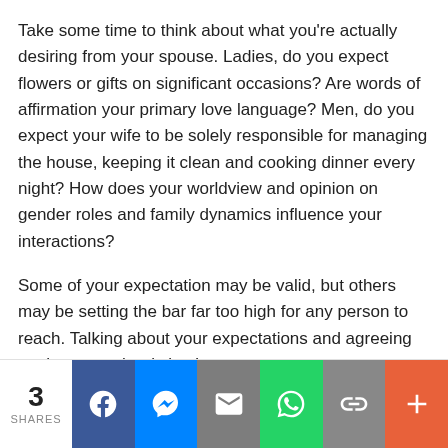Take some time to think about what you're actually desiring from your spouse. Ladies, do you expect flowers or gifts on significant occasions? Are words of affirmation your primary love language? Men, do you expect your wife to be solely responsible for managing the house, keeping it clean and cooking dinner every night? How does your worldview and opinion on gender roles and family dynamics influence your interactions?
Some of your expectation may be valid, but others may be setting the bar far too high for any person to reach. Talking about your expectations and agreeing on them together is key!
3 SHARES | Facebook | Messenger | Email | WhatsApp | Link | More